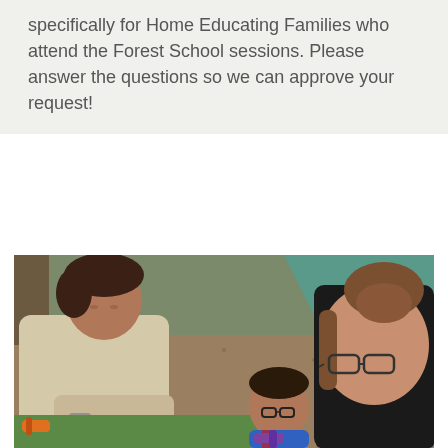specifically for Home Educating Families who attend the Forest School sessions. Please answer the questions so we can approve your request!
[Figure (photo): Photo of an adult woman in a cream fleece jumper and a teenage girl with glasses and hair in a bun, both leaning over a green cutting mat outdoors. A young boy wearing glasses and a blue top sits between them. They appear to be doing a craft activity. The background shows woodland ground and a teal tarpaulin shelter.]